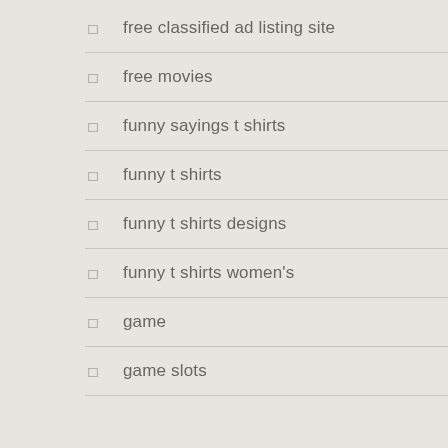free classified ad listing site
free movies
funny sayings t shirts
funny t shirts
funny t shirts designs
funny t shirts women's
game
game slots